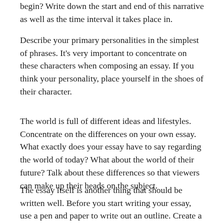begin? Write down the start and end of this narrative as well as the time interval it takes place in.
Describe your primary personalities in the simplest of phrases. It's very important to concentrate on these characters when composing an essay. If you think your personality, place yourself in the shoes of their character.
The world is full of different ideas and lifestyles. Concentrate on the differences on your own essay. What exactly does your essay have to say regarding the world of today? What about the world of their future? Talk about these differences so that viewers can make up their heads on the subject.
The essay itself is another thing that should be written well. Before you start writing your essay, use a pen and paper to write out an outline. Create a couple drafts. You need to always read the outline over before writing your own essay. You should be able to see